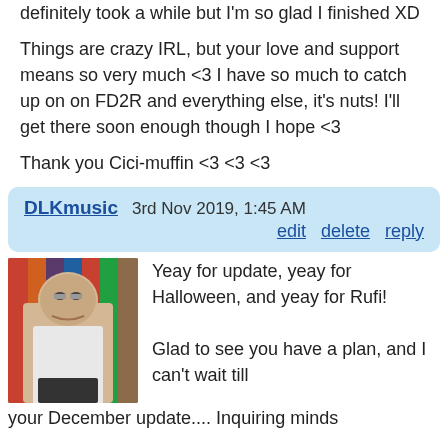definitely took a while but I'm so glad I finished XD
Things are crazy IRL, but your love and support means so very much <3 I have so much to catch up on on FD2R and everything else, it's nuts! I'll get there soon enough though I hope <3
Thank you Cici-muffin <3 <3 <3
DLKmusic   3rd Nov 2019, 1:45 AM
edit  delete  reply
[Figure (photo): Profile photo of a man with glasses wearing a white shirt, sitting at a desk, with colorful striped fabric in the background.]
Yeay for update, yeay for Halloween, and yeay for Rufi!
Glad to see you have a plan, and I can't wait till your December update.... Inquiring minds